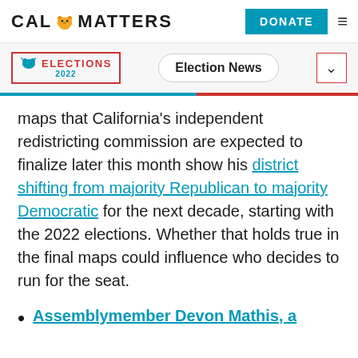CAL MATTERS | DONATE
ELECTIONS 2022 | Election News
maps that California's independent redistricting commission are expected to finalize later this month show his district shifting from majority Republican to majority Democratic for the next decade, starting with the 2022 elections. Whether that holds true in the final maps could influence who decides to run for the seat.
Assemblymember Devon Mathis, a